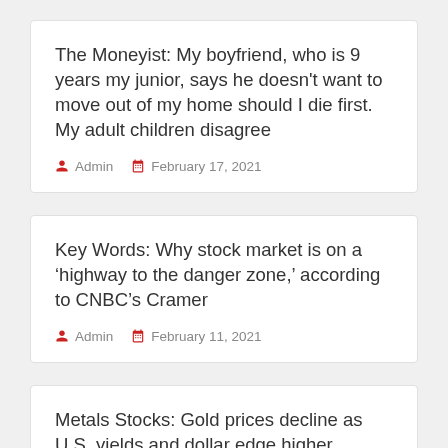The Moneyist: My boyfriend, who is 9 years my junior, says he doesn't want to move out of my home should I die first. My adult children disagree
Admin  February 17, 2021
Key Words: Why stock market is on a ‘highway to the danger zone,’ according to CNBC’s Cramer
Admin  February 11, 2021
Metals Stocks: Gold prices decline as U.S. yields and dollar edge higher